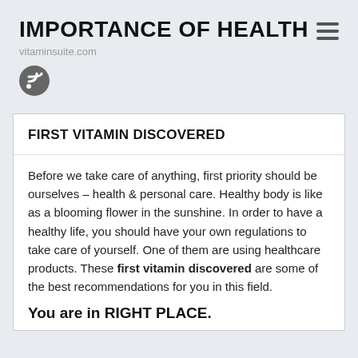IMPORTANCE OF HEALTH
vitaminsuite.com
[Figure (logo): RSS feed icon — dark gray circle with white RSS signal symbol]
FIRST VITAMIN DISCOVERED
Before we take care of anything, first priority should be ourselves – health & personal care. Healthy body is like as a blooming flower in the sunshine. In order to have a healthy life, you should have your own regulations to take care of yourself. One of them are using healthcare products. These first vitamin discovered are some of the best recommendations for you in this field.
You are in RIGHT PLACE.